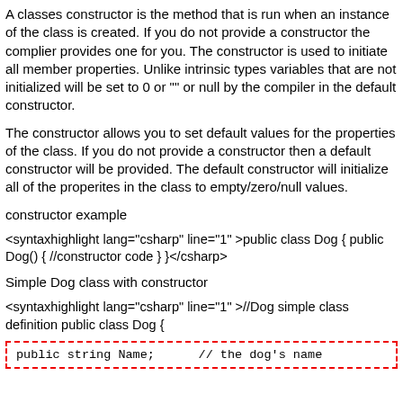A classes constructor is the method that is run when an instance of the class is created. If you do not provide a constructor the complier provides one for you. The constructor is used to initiate all member properties. Unlike intrinsic types variables that are not initialized will be set to 0 or "" or null by the compiler in the default constructor.
The constructor allows you to set default values for the properties of the class. If you do not provide a constructor then a default constructor will be provided. The default constructor will initialize all of the properites in the class to empty/zero/null values.
constructor example
<syntaxhighlight lang="csharp" line="1" >public class Dog { public Dog() { //constructor code } }</csharp>
Simple Dog class with constructor
<syntaxhighlight lang="csharp" line="1" >//Dog simple class definition public class Dog {
public string Name;      // the dog's name